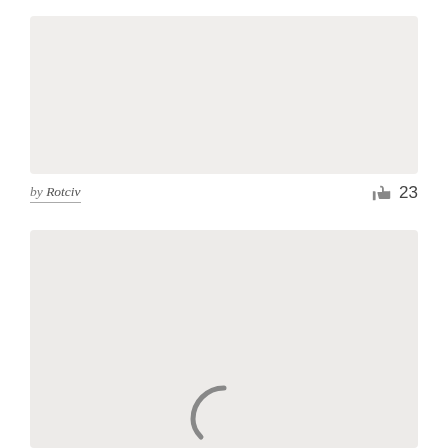[Figure (other): Light gray image placeholder block at top]
by Rotciv
23
[Figure (other): Light gray image block with loading spinner icon visible at bottom center]